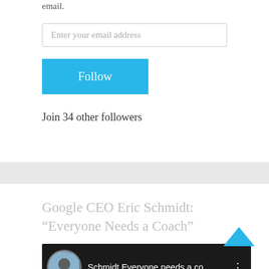email.
Enter your email address
Follow
Join 34 other followers
Google CEO Eric Schmidt: “Everyone Needs a Coach”
[Figure (screenshot): YouTube video thumbnail showing 'Schmidt Everyone needs a co...' with a circular avatar image and a three-dot menu icon on a dark background]